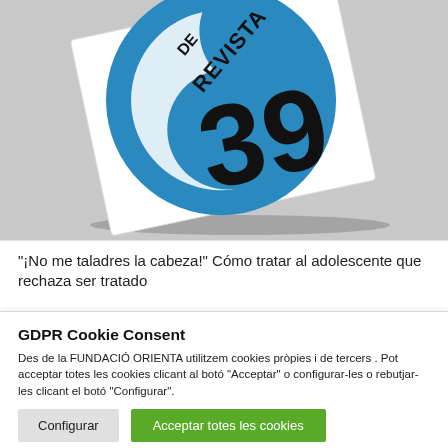[Figure (illustration): A magazine or booklet cover with blue circle graphic and large number '39', along with text 'REVISTA' partially visible, shown at an angle on a gray background.]
“¡No me taladres la cabeza!” Cómo tratar al adolescente que rechaza ser tratado
GDPR Cookie Consent
Des de la FUNDACIÓ ORIENTA utilitzem cookies pròpies i de tercers . Pot acceptar totes les cookies clicant al botó “Acceptar” o configurar-les o rebutjar-les clicant el botó “Configurar”.
Configurar
Acceptar totes les cookies